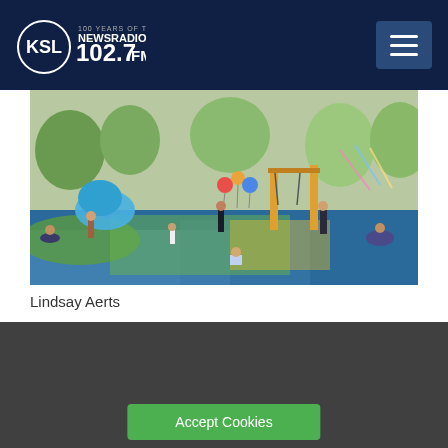KSL NewsRadio 102.7FM
[Figure (photo): Outdoor playground/park scene with children and adults playing on colorful play equipment and surfaces, trees in background]
Lindsay Aerts
We use cookies on this website to offer you a superior user experience, analyze site traffic, and personalize content and advertisements. By continuing to use our site, you consent to our use of cookies. Please visit our Privacy Policy for more information.
Accept Cookies